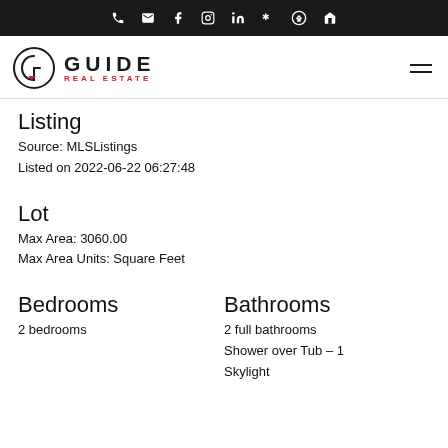Guide Real Estate — navigation bar with icons: phone, email, facebook, instagram, linkedin, yelp, home, menu
[Figure (logo): Guide Real Estate circular logo with 'GUIDE REAL ESTATE' text]
Listing
Source: MLSListings
Listed on 2022-06-22 06:27:48
Lot
Max Area: 3060.00
Max Area Units: Square Feet
Bedrooms
2 bedrooms
Bathrooms
2 full bathrooms
Shower over Tub – 1
Skylight